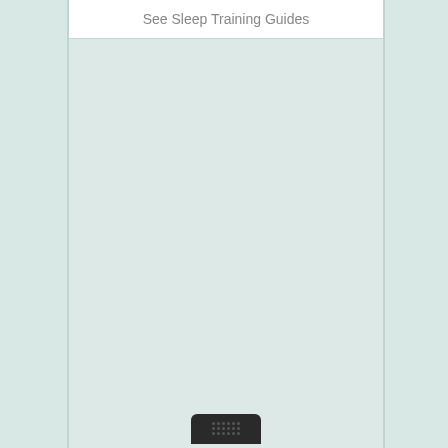See Sleep Training Guides
[Figure (photo): A tablet device shown from the front, displaying a light teal/mint colored screen with a white header bar at the top showing the text 'See Sleep Training Guides'. The tablet has a dark home button at the bottom center. The background is a similar light teal/mint color.]